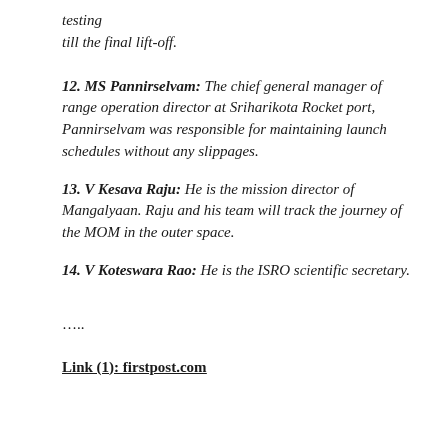testing
till the final lift-off.
12. MS Pannirselvam: The chief general manager of range operation director at Sriharikota Rocket port, Pannirselvam was responsible for maintaining launch schedules without any slippages.
13. V Kesava Raju: He is the mission director of Mangalyaan. Raju and his team will track the journey of the MOM in the outer space.
14. V Koteswara Rao: He is the ISRO scientific secretary.
…..
Link (1): firstpost.com